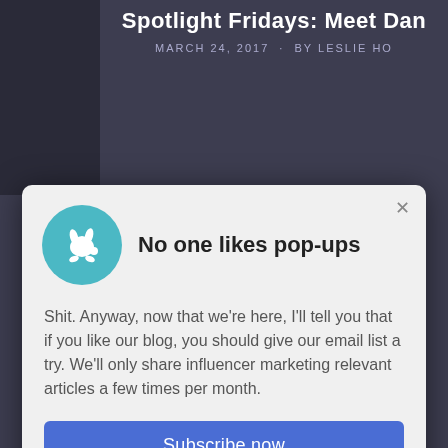Spotlight Fridays: Meet Dan
MARCH 24, 2017  ·  BY LESLIE HO
[Figure (screenshot): A popup modal overlay on a blog page with teal circular icon featuring a white animal logo, bold heading 'No one likes pop-ups', body text, and a blue Subscribe now button]
No one likes pop-ups
Shit. Anyway, now that we're here, I'll tell you that if you like our blog, you should give our email list a try. We'll only share influencer marketing relevant articles a few times per month.
Subscribe now
We'll send you a newsletter every other week with our insights on how to grow your business and acquire new customers using